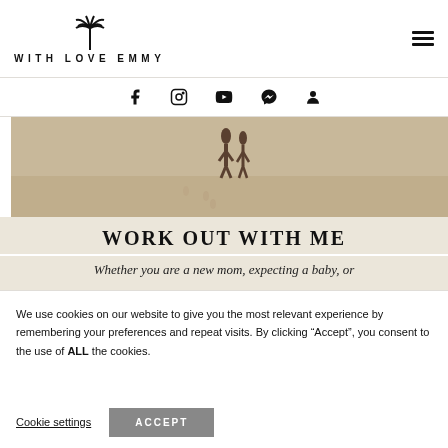WITH LOVE EMMY
[Figure (illustration): Social media icon bar with Facebook, Instagram, YouTube, Messenger, and user account icons]
[Figure (photo): Beach photo showing sandy beach with two figures standing, warm sandy tones]
WORK OUT WITH ME
Whether you are a new mom, expecting a baby, or
We use cookies on our website to give you the most relevant experience by remembering your preferences and repeat visits. By clicking "Accept", you consent to the use of ALL the cookies.
Cookie settings  ACCEPT